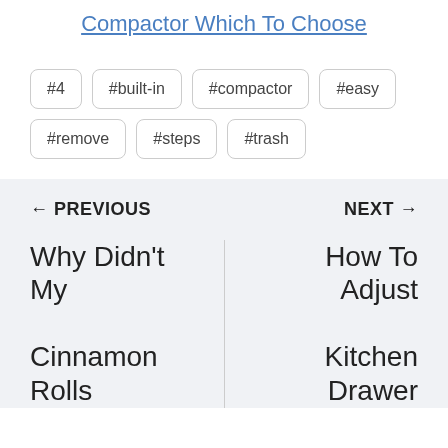Compactor Which To Choose
#4
#built-in
#compactor
#easy
#remove
#steps
#trash
← PREVIOUS
NEXT →
Why Didn't My
Cinnamon Rolls
How To Adjust
Kitchen Drawer